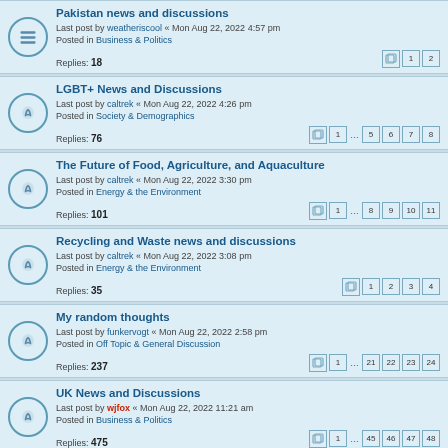Pakistan news and discussions
Last post by weatheriscool « Mon Aug 22, 2022 4:57 pm
Posted in Business & Politics
Replies: 18
LGBT+ News and Discussions
Last post by caltrek « Mon Aug 22, 2022 4:26 pm
Posted in Society & Demographics
Replies: 76
The Future of Food, Agriculture, and Aquaculture
Last post by caltrek « Mon Aug 22, 2022 3:30 pm
Posted in Energy & the Environment
Replies: 101
Recycling and Waste news and discussions
Last post by caltrek « Mon Aug 22, 2022 3:08 pm
Posted in Energy & the Environment
Replies: 35
My random thoughts
Last post by funkervogt « Mon Aug 22, 2022 2:58 pm
Posted in Off Topic & General Discussion
Replies: 237
UK News and Discussions
Last post by wjfox « Mon Aug 22, 2022 11:21 am
Posted in Business & Politics
Replies: 475
Post-Brexit News and Discussions